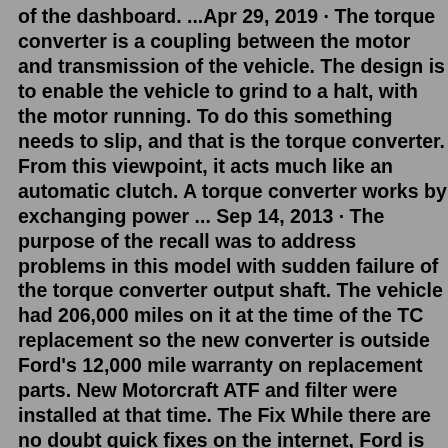of the dashboard. ...Apr 29, 2019 · The torque converter is a coupling between the motor and transmission of the vehicle. The design is to enable the vehicle to grind to a halt, with the motor running. To do this something needs to slip, and that is the torque converter. From this viewpoint, it acts much like an automatic clutch. A torque converter works by exchanging power ... Sep 14, 2013 · The purpose of the recall was to address problems in this model with sudden failure of the torque converter output shaft. The vehicle had 206,000 miles on it at the time of the TC replacement so the new converter is outside Ford's 12,000 mile warranty on replacement parts. New Motorcraft ATF and filter were installed at that time. The Fix While there are no doubt quick fixes on the internet, Ford is planning on issuing a technical service bulletin soon to address the issue Eco-Boost Shudder Issue [FIXED] 2015 F150 Eco-boost Shudder Fix! von Chase636RR vor 2 Wochen 8 Minuten, 20 Sekunden 28 Aufrufe 2015 F150 , Torque Converter